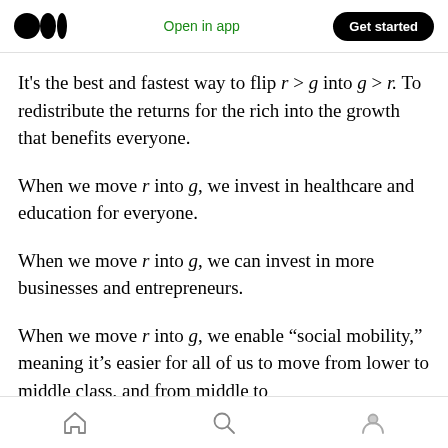Medium logo | Open in app | Get started
It's the best and fastest way to flip r > g into g > r. To redistribute the returns for the rich into the growth that benefits everyone.
When we move r into g, we invest in healthcare and education for everyone.
When we move r into g, we can invest in more businesses and entrepreneurs.
When we move r into g, we enable “social mobility,” meaning it’s easier for all of us to move from lower to middle class, and from middle to
Home | Search | Profile